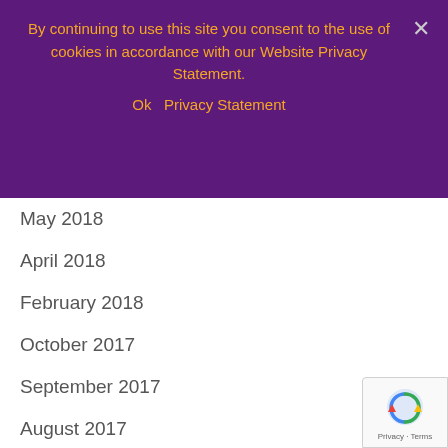By continuing to use this site you consent to the use of cookies in accordance with our Website Privacy Statement.
Ok   Privacy Statement
May 2018
April 2018
February 2018
October 2017
September 2017
August 2017
June 2017
March 2017
February 2017
October 2016
September 2016
August 2016